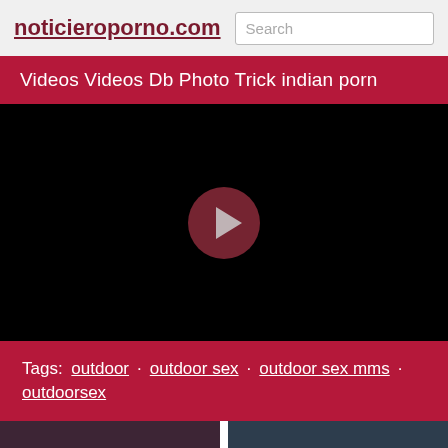noticieroporno.com
Videos Videos Db Photo Trick indian porn
[Figure (screenshot): Black video player with a circular dark red play button in the center]
Tags: outdoor  outdoor sex  outdoor sex mms  outdoorsex
[Figure (photo): Two thumbnail images side by side at the bottom of the page]